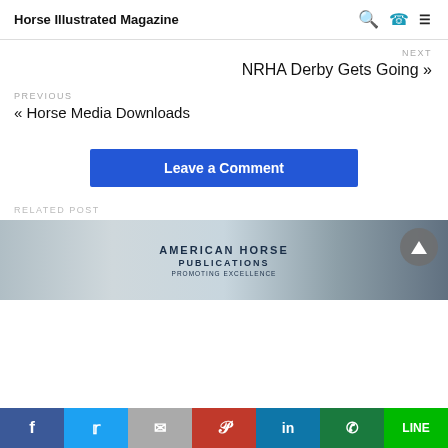Horse Illustrated Magazine
NEXT
NRHA Derby Gets Going »
PREVIOUS
« Horse Media Downloads
Leave a Comment
RELATED POST
[Figure (photo): Photo showing people in front of an American Horse Publications banner, promoting excellence]